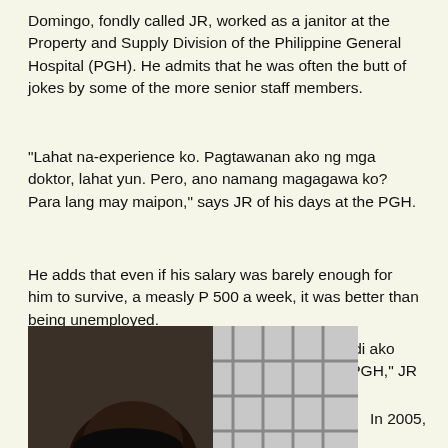Domingo, fondly called JR, worked as a janitor at the Property and Supply Division of the Philippine General Hospital (PGH). He admits that he was often the butt of jokes by some of the more senior staff members.
"Lahat na-experience ko. Pagtawanan ako ng mga doktor, lahat yun. Pero, ano namang magagawa ko? Para lang may maipon," says JR of his days at the PGH.
He adds that even if his salary was barely enough for him to survive, a measly P 500 a week, it was better than being unemployed.
"Kuha ako ng kuha ng civil service exams pero di ako maka pasa-pasa. Kaya, ayun, na-stuck ako sa PGH," JR expounds.
[Figure (photo): Partial photo of a person, showing the top of their head with dark hair, against a background with window or grid-like structure visible.]
In 2005,